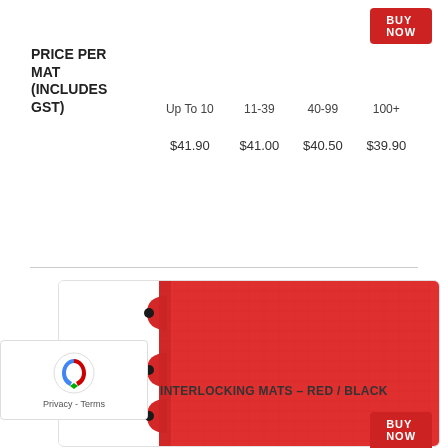BUY NOW
| PRICE PER MAT (INCLUDES GST) | Up To 10 | 11-39 | 40-99 | 100+ |
| --- | --- | --- | --- | --- |
|  | $41.90 | $41.00 | $40.50 | $39.90 |
[Figure (photo): Red interlocking foam mat close-up showing puzzle-edge texture in red color]
INTERLOCKING MATS – RED / BLACK
BUY NOW